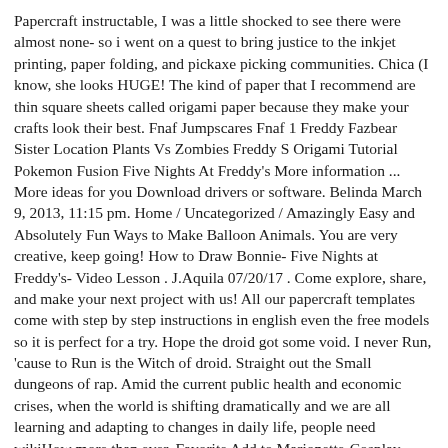Papercraft instructable, I was a little shocked to see there were almost none- so i went on a quest to bring justice to the inkjet printing, paper folding, and pickaxe picking communities. Chica (I know, she looks HUGE! The kind of paper that I recommend are thin square sheets called origami paper because they make your crafts look their best. Fnaf Jumpscares Fnaf 1 Freddy Fazbear Sister Location Plants Vs Zombies Freddy S Origami Tutorial Pokemon Fusion Five Nights At Freddy's More information ... More ideas for you Download drivers or software. Belinda March 9, 2013, 11:15 pm. Home / Uncategorized / Amazingly Easy and Absolutely Fun Ways to Make Balloon Animals. You are very creative, keep going! How to Draw Bonnie- Five Nights at Freddy's- Video Lesson . J.Aquila 07/20/17 . Come explore, share, and make your next project with us! All our papercraft templates come with step by step instructions in english even the free models so it is perfect for a try. Hope the droid got some void. I never Run, 'cause to Run is the Witch of droid. Straight out the Small dungeons of rap. Amid the current public health and economic crises, when the world is shifting dramatically and we are all learning and adapting to changes in daily life, people need wikiHow more than ever. Favorite Add to Marionette-Cosplay Dress-Five Nights At Freddy's JamminPajamas. Apr 13, 2017 - Explore Zoey's board "Fnaf paper cutouts!" Thank you, Leyla. They make great decorations for parties, classrooms and your home. I discovered it too! Ts3100 driver pour windows. Use the